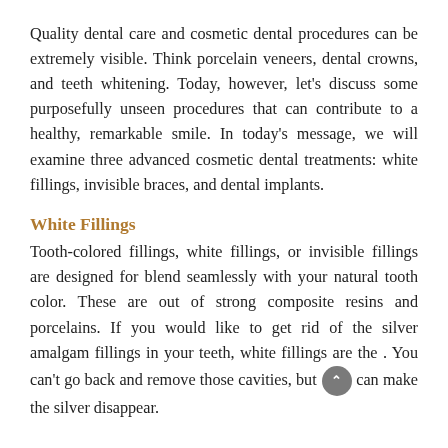Quality dental care and cosmetic dental procedures can be extremely visible. Think porcelain veneers, dental crowns, and teeth whitening. Today, however, let’s discuss some purposefully unseen procedures that can contribute to a healthy, remarkable smile. In today’s message, we will examine three advanced cosmetic dental treatments: white fillings, invisible braces, and dental implants.
White Fillings
Tooth-colored fillings, white fillings, or invisible fillings are designed for blend seamlessly with your natural tooth color. These are out of strong composite resins and porcelains. If you would like to get rid of the silver amalgam fillings in your teeth, white fillings are the . You can’t go back and remove those cavities, but you can make the silver disappear.